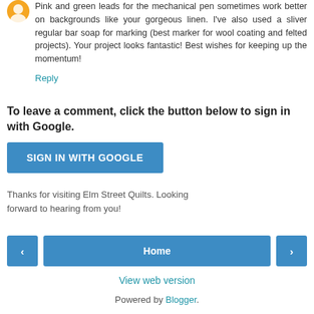Pink and green leads for the mechanical pen sometimes work better on backgrounds like your gorgeous linen. I've also used a sliver regular bar soap for marking (best marker for wool coating and felted projects). Your project looks fantastic! Best wishes for keeping up the momentum!
Reply
To leave a comment, click the button below to sign in with Google.
SIGN IN WITH GOOGLE
Thanks for visiting Elm Street Quilts. Looking forward to hearing from you!
Home
View web version
Powered by Blogger.